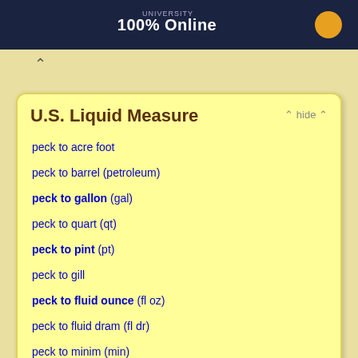[Figure (screenshot): University advertisement banner showing '100% Online' text on dark navy background with orange circle]
U.S. Liquid Measure
peck to acre foot
peck to barrel (petroleum)
peck to gallon (gal)
peck to quart (qt)
peck to pint (pt)
peck to gill
peck to fluid ounce (fl oz)
peck to fluid dram (fl dr)
peck to minim (min)